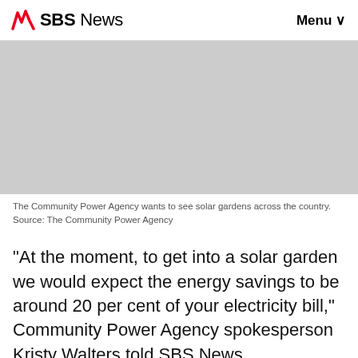SBS News   Menu
[Figure (photo): Gray placeholder image area for a photo related to solar gardens/Community Power Agency]
The Community Power Agency wants to see solar gardens across the country. Source: The Community Power Agency
“At the moment, to get into a solar garden we would expect the energy savings to be around 20 per cent of your electricity bill,” Community Power Agency spokesperson Kristy Walters told SBS News.